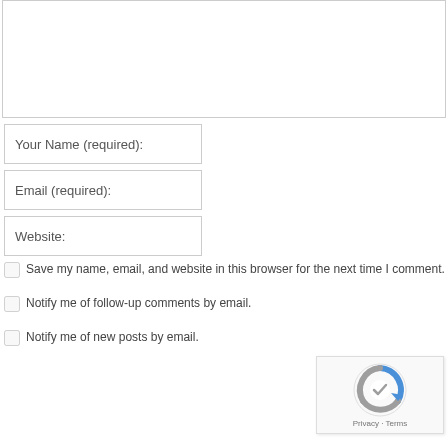[Figure (screenshot): Comment form textarea (top portion, mostly empty)]
Your Name (required):
Email (required):
Website:
Save my name, email, and website in this browser for the next time I comment.
Notify me of follow-up comments by email.
Notify me of new posts by email.
POST COMMENT
[Figure (logo): Google reCAPTCHA badge with Privacy and Terms links]